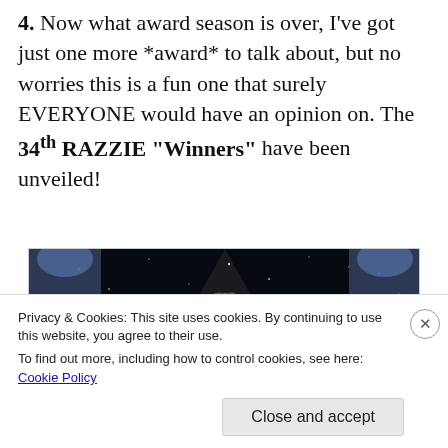4. Now what award season is over, I've got just one more *award* to talk about, but no worries this is a fun one that surely EVERYONE would have an opinion on. The 34th RAZZIE "Winners" have been unveiled!
[Figure (photo): Golden Razzie Award trophy (golden raspberry) on a pedestal under stage spotlights against a dark starry background]
Privacy & Cookies: This site uses cookies. By continuing to use this website, you agree to their use.
To find out more, including how to control cookies, see here: Cookie Policy